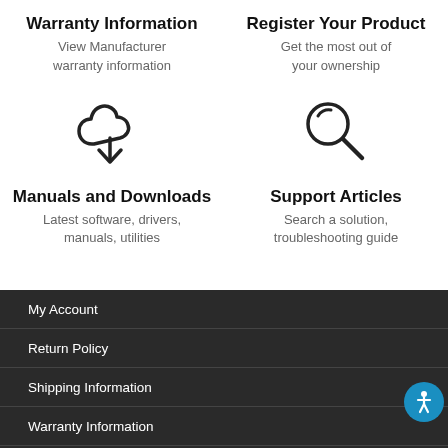Warranty Information
View Manufacturer warranty information
Register Your Product
Get the most out of your ownership
[Figure (illustration): Cloud with downward arrow icon for downloads]
[Figure (illustration): Magnifying glass icon for search/support]
Manuals and Downloads
Latest software, drivers, manuals, utilities
Support Articles
Search a solution, troubleshooting guide
My Account
Return Policy
Shipping Information
Warranty Information